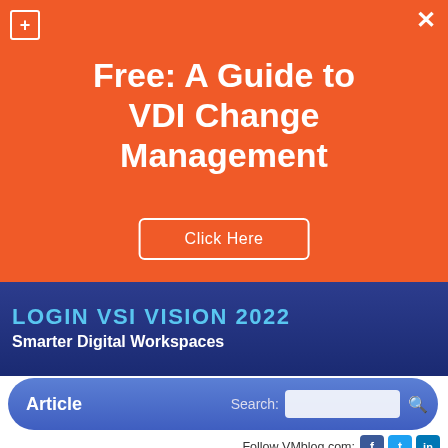Free: A Guide to VDI Change Management
Click Here
LOGIN VSI VISION 2022
Smarter Digital Workspaces
Article   Search:
Follow VMblog.com:
Delivering a Friction-Free Experience for the Worker from Anywhere in the World
Recap: 226 #Virtualization and #Cloud #2016Predi...